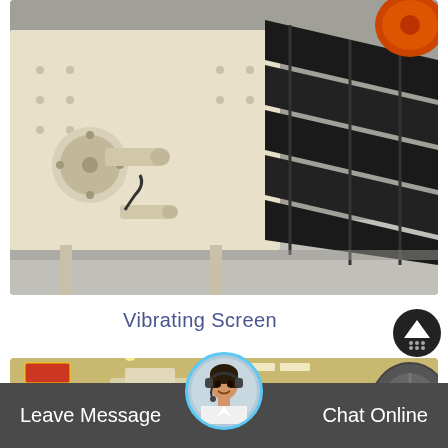[Figure (photo): Industrial vibrating screen machine with cream/beige colored housing and black metal screening decks, photographed in a factory/warehouse setting. Machine has cylindrical bearings protruding from the side and multiple angled screening panels.]
Vibrating Screen
[Figure (photo): Industrial machinery showroom or factory floor with multiple cream-colored crushers and mills on display, bright lighting, Chinese signage visible in background.]
Leave Message
Chat Online